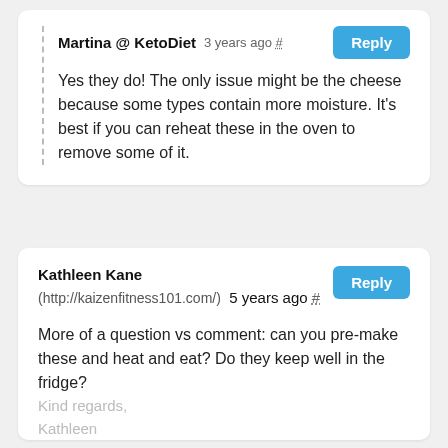Martina @ KetoDiet   3 years ago #   Reply
Yes they do! The only issue might be the cheese because some types contain more moisture. It's best if you can reheat these in the oven to remove some of it.
Kathleen Kane (http://kaizenfitness101.com/)   5 years ago #   Reply
More of a question vs comment: can you pre-make these and heat and eat? Do they keep well in the fridge?
Kind regards,
Kathleen